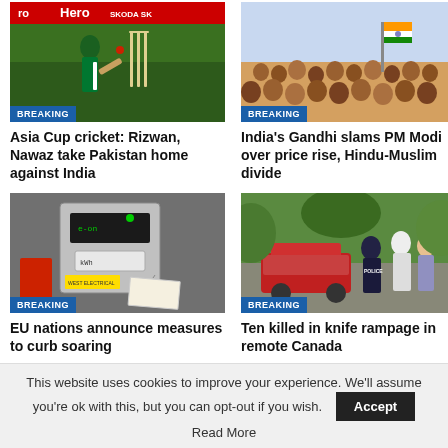[Figure (photo): Cricket player batting at Asia Cup, with Hero and Skoda advertising boards visible]
[Figure (photo): Indian crowd with flags, Gandhi rally against PM Modi]
Asia Cup cricket: Rizwan, Nawaz take Pakistan home against India
India's Gandhi slams PM Modi over price rise, Hindu-Muslim divide
[Figure (photo): EU energy meter/electricity meter close-up photo]
[Figure (photo): Canadian police at crime scene with forensic officers]
EU nations announce measures to curb soaring
Ten killed in knife rampage in remote Canada
This website uses cookies to improve your experience. We'll assume you're ok with this, but you can opt-out if you wish.
Accept
Read More